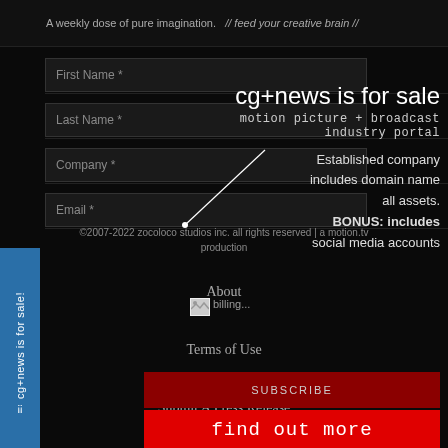A weekly dose of pure imagination.  // feed your creative brain //
First Name *
cg+news is for sale
motion picture + broadcast industry portal
Established company includes domain name all assets. BONUS: includes social media accounts
Last Name *
Company *
Email *
SUBSCRIBE
find out more
©2007-2022 zocoloco studios inc. all rights reserved | a motion.tv production
About
Terms of Use
Submit A Press Release
cg+news is for sale!